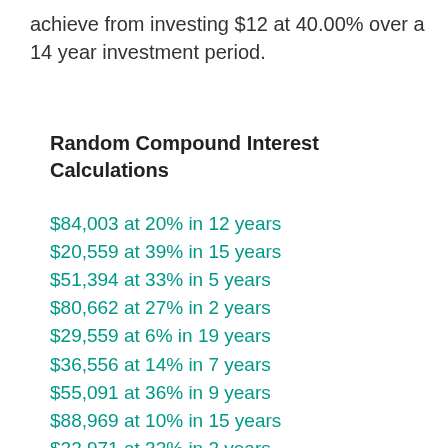achieve from investing $12 at 40.00% over a 14 year investment period.
Random Compound Interest Calculations
$84,003 at 20% in 12 years
$20,559 at 39% in 15 years
$51,394 at 33% in 5 years
$80,662 at 27% in 2 years
$29,559 at 6% in 19 years
$36,556 at 14% in 7 years
$55,091 at 36% in 9 years
$88,969 at 10% in 15 years
$22,971 at 32% in 2 years
$97,227 at 36% in 27 years
$45,885 at 6% in 27 years
$72,501 at 1% in 11 years